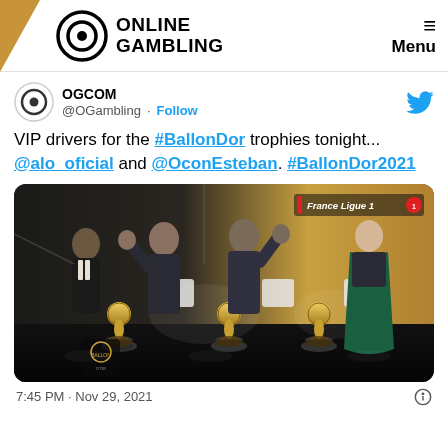ONLINE GAMBLING | Menu
OGCOM @OGambling · Follow
VIP drivers for the #BallonDor trophies tonight... @alo_oficial and @OconEsteban. #BallonDor2021
[Figure (photo): Photo from the Ballon d'Or 2021 ceremony showing four people on stage with Ballon d'Or trophies. Three men in suits and one woman in a green dress. A 'France Ligue 1' watermark is visible in the top right.]
7:45 PM · Nov 29, 2021